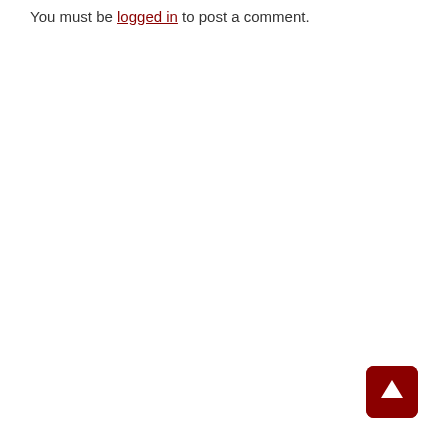You must be logged in to post a comment.
[Figure (other): Back to top button — dark red rounded square with a white upward arrow icon]